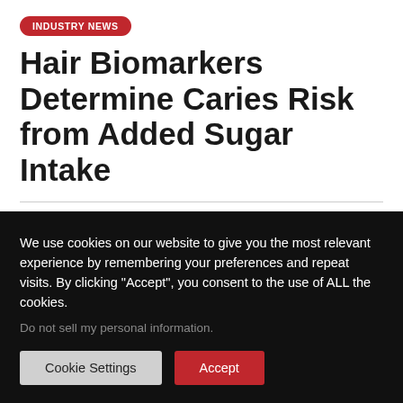INDUSTRY NEWS
Hair Biomarkers Determine Caries Risk from Added Sugar Intake
siteground
November 5, 2015
We use cookies on our website to give you the most relevant experience by remembering your preferences and repeat visits. By clicking “Accept”, you consent to the use of ALL the cookies.
Do not sell my personal information.
Cookie Settings
Accept